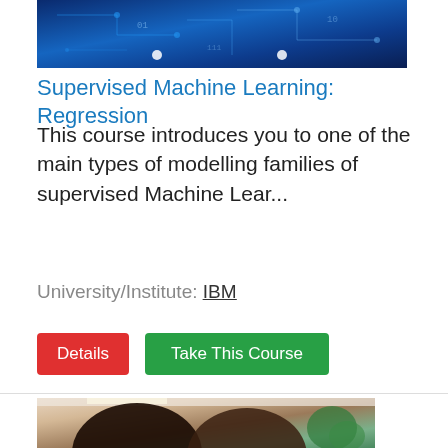[Figure (photo): Course banner image with blue circuit board / technology background with white dot navigation indicators]
Supervised Machine Learning: Regression
This course introduces you to one of the main types of modelling families of supervised Machine Lear...
University/Institute: IBM
Details | Take This Course
[Figure (photo): Two people (a woman with dark hair and a man with short hair and beard) looking at something together and smiling, with a green plant in the background in an office setting]